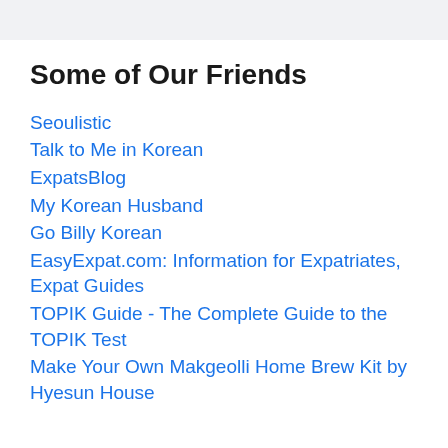Some of Our Friends
Seoulistic
Talk to Me in Korean
ExpatsBlog
My Korean Husband
Go Billy Korean
EasyExpat.com: Information for Expatriates, Expat Guides
TOPIK Guide - The Complete Guide to the TOPIK Test
Make Your Own Makgeolli Home Brew Kit by Hyesun House